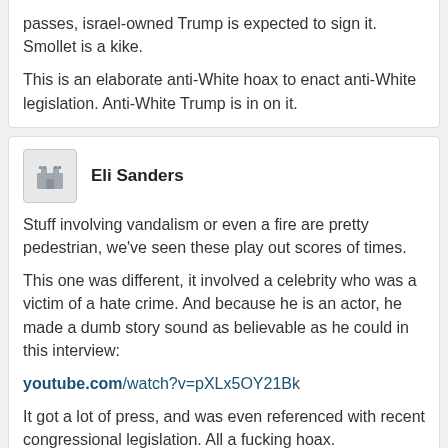passes, israel-owned Trump is expected to sign it. Smollet is a kike.
This is an elaborate anti-White hoax to enact anti-White legislation. Anti-White Trump is in on it.
Eli Sanders
Stuff involving vandalism or even a fire are pretty pedestrian, we've seen these play out scores of times.
This one was different, it involved a celebrity who was a victim of a hate crime. And because he is an actor, he made a dumb story sound as believable as he could in this interview:
youtube.com/watch?v=pXLx5OY21Bk
It got a lot of press, and was even referenced with recent congressional legislation. All a fucking hoax.
Michael White